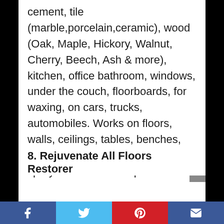cement, tile (marble,porcelain,ceramic), wood (Oak, Maple, Hickory, Walnut, Cherry, Beech, Ash & more), kitchen, office bathroom, windows, under the couch, floorboards, for waxing, on cars, trucks, automobiles. Works on floors, walls, ceilings, tables, benches, etc. Works great with vinegar, spray on floor and mop!
8. Rejuvenate All Floors Restorer